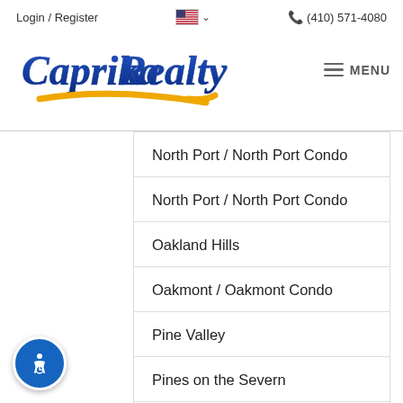Login / Register  (410) 571-4080
[Figure (logo): Caprika Realty logo with blue cursive text and yellow swoosh underline, next to a hamburger menu icon and MENU text]
North Port / North Port Condo
North Port / North Port Condo
Oakland Hills
Oakmont / Oakmont Condo
Pine Valley
Pines on the Severn
Point-O-Woods